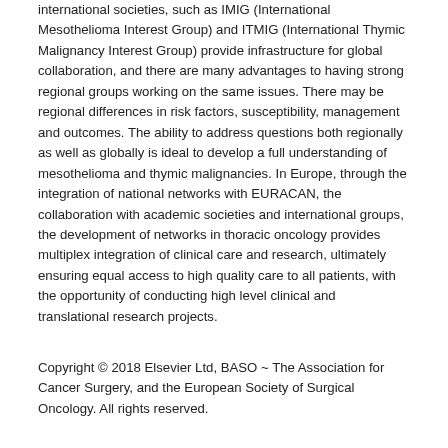international societies, such as IMIG (International Mesothelioma Interest Group) and ITMIG (International Thymic Malignancy Interest Group) provide infrastructure for global collaboration, and there are many advantages to having strong regional groups working on the same issues. There may be regional differences in risk factors, susceptibility, management and outcomes. The ability to address questions both regionally as well as globally is ideal to develop a full understanding of mesothelioma and thymic malignancies. In Europe, through the integration of national networks with EURACAN, the collaboration with academic societies and international groups, the development of networks in thoracic oncology provides multiplex integration of clinical care and research, ultimately ensuring equal access to high quality care to all patients, with the opportunity of conducting high level clinical and translational research projects.
Copyright © 2018 Elsevier Ltd, BASO ~ The Association for Cancer Surgery, and the European Society of Surgical Oncology. All rights reserved.